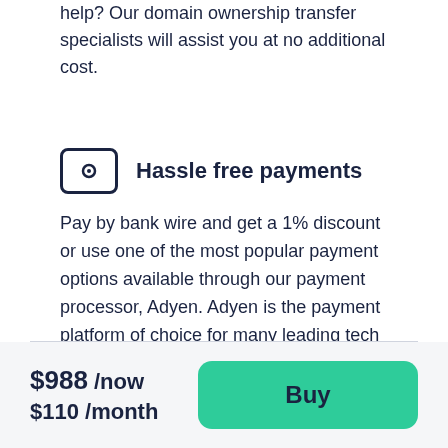help? Our domain ownership transfer specialists will assist you at no additional cost.
Hassle free payments
Pay by bank wire and get a 1% discount or use one of the most popular payment options available through our payment processor, Adyen. Adyen is the payment platform of choice for many leading tech companies like Uber & eBay.
$988 /now
$110 /month
Buy